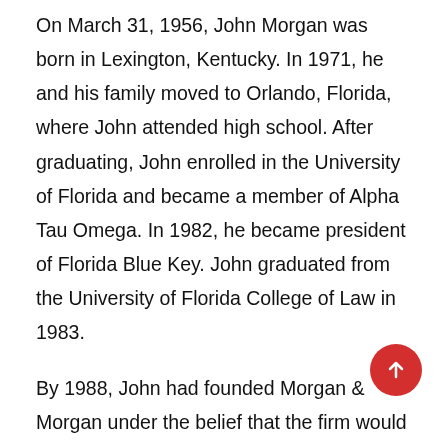On March 31, 1956, John Morgan was born in Lexington, Kentucky. In 1971, he and his family moved to Orlando, Florida, where John attended high school. After graduating, John enrolled in the University of Florida and became a member of Alpha Tau Omega. In 1982, he became president of Florida Blue Key. John graduated from the University of Florida College of Law in 1983.
By 1988, John had founded Morgan & Morgan under the belief that the firm would represent the people, not the powerful. To this day, John has run the firm by that code, promising never to take a case representing an insurance carrier or